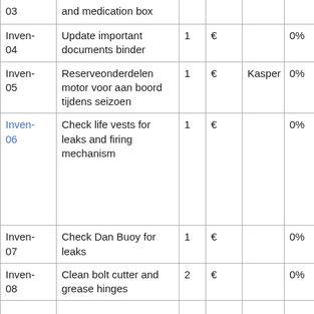| ID | Description | Qty | Cost | Assignee | % |
| --- | --- | --- | --- | --- | --- |
|  | and medication box |  |  |  |  |
| Inven-04 | Update important documents binder | 1 | € |  | 0% |
| Inven-05 | Reserveonderdelen motor voor aan boord tijdens seizoen | 1 | € | Kasper | 0% |
| Inven-06 | Check life vests for leaks and firing mechanism | 1 | € |  | 0% |
| Inven-07 | Check Dan Buoy for leaks | 1 | € |  | 0% |
| Inven-08 | Clean bolt cutter and grease hinges | 2 | € |  | 0% |